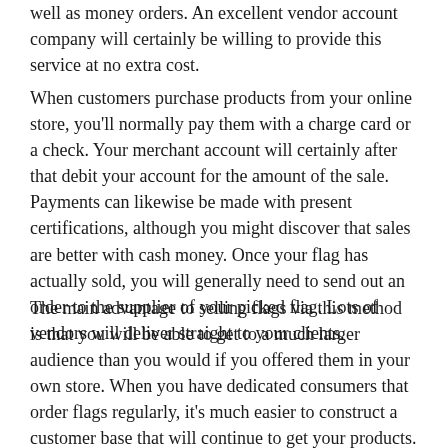well as money orders. An excellent vendor account company will certainly be willing to provide this service at no extra cost.
When customers purchase products from your online store, you'll normally pay them with a charge card or a check. Your merchant account will certainly after that debit your account for the amount of the sale. Payments can likewise be made with present certifications, although you might discover that sales are better with cash money. Once your flag has actually sold, you will generally need to send out an order to the supplier of your picked flag. Lots of vendors will deliver straight to your clients.
The main advantage to selling flags via this method is that you will be able to get to a much larger audience than you would if you offered them in your own store. When you have dedicated consumers that order flags regularly, it's much easier to construct a customer base that will continue to get your products. In addition, you'll additionally have the ability to provide an extra individualized client service experience to each customer. If you currently only sell typical flag shades, you can likewise quickly start using specialized shades such as army environment-friendly or camouflage. Sometimes consumers will pick among these specific shades when they want something special. With